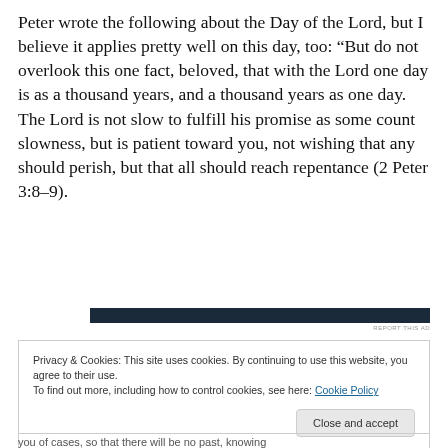Peter wrote the following about the Day of the Lord, but I believe it applies pretty well on this day, too: “But do not overlook this one fact, beloved, that with the Lord one day is as a thousand years, and a thousand years as one day. The Lord is not slow to fulfill his promise as some count slowness, but is patient toward you, not wishing that any should perish, but that all should reach repentance (2 Peter 3:8–9).
[Figure (other): Dark navy horizontal advertisement bar with REPORT THIS AD label]
Privacy & Cookies: This site uses cookies. By continuing to use this website, you agree to their use.
To find out more, including how to control cookies, see here: Cookie Policy
[Close and accept button]
you of cases, so that there will be no past, knowing